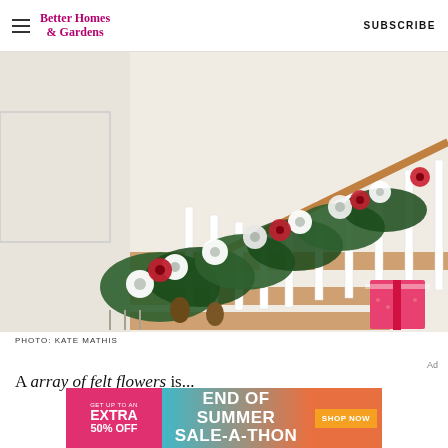Better Homes & Gardens | SUBSCRIBE
[Figure (photo): Christmas staircase decorated with felt flowers in white, red, and gray colors mixed with fresh greenery garland along the banister, with wrapped gifts visible at the bottom right.]
PHOTO: KATE MATHIS
Ad
A array of felt flowers is...
[Figure (infographic): Advertisement banner: GET UP TO AN EXTRA 50% OFF | END OF SUMMER SALE-A-THON | SHOP NOW]